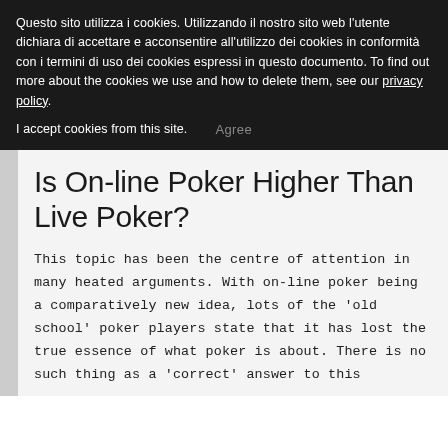Questo sito utilizza i cookies. Utilizzando il nostro sito web l'utente dichiara di accettare e acconsentire all'utilizzo dei cookies in conformità con i termini di uso dei cookies espressi in questo documento. To find out more about the cookies we use and how to delete them, see our privacy policy.
I accept cookies from this site.   Agree
Is On-line Poker Higher Than Live Poker?
This topic has been the centre of attention in many heated arguments. With on-line poker being a comparatively new idea, lots of the 'old school' poker players state that it has lost the true essence of what poker is about. There is no such thing as a 'correct' answer to this